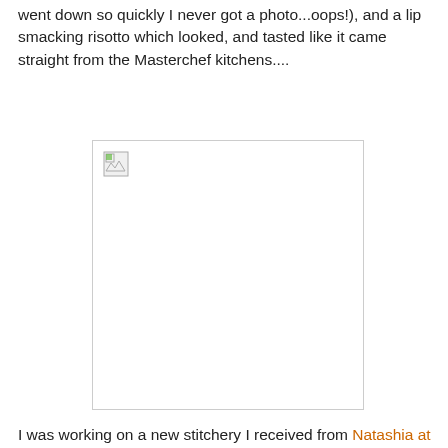went down so quickly I never got a photo...oops!), and a lip smacking risotto which looked, and tasted like it came straight from the Masterchef kitchens....
[Figure (photo): A broken/missing image placeholder showing a small broken image icon in the top-left corner of a white rectangle with a light grey border.]
I was working on a new stitchery I received from Natashia at